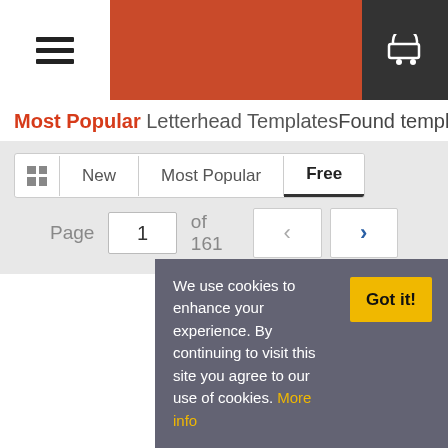Most Popular Letterhead Templates   Found templates: 8047
New | Most Popular | Free
Page 1 of 161
We use cookies to enhance your experience. By continuing to visit this site you agree to our use of cookies. More info
Got it!